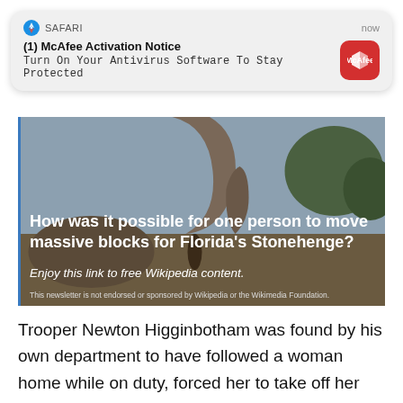[Figure (screenshot): Safari browser notification popup: '(1) McAfee Activation Notice' with subtitle 'Turn On Your Antivirus Software To Stay Protected' and McAfee red icon, timestamped 'now']
[Figure (photo): Wikipedia newsletter article image showing large stone sculptures at Coral Castle (Florida's Stonehenge) with overlay text: 'How was it possible for one person to move massive blocks for Florida's Stonehenge?' and italic text 'Enjoy this link to free Wikipedia content.' plus disclaimer 'This newsletter is not endorsed or sponsored by Wikipedia or the Wikimedia Foundation.']
Trooper Newton Higginbotham was found by his own department to have followed a woman home while on duty, forced her to take off her clothes, sexually assaulted her, yet he was never charged. Trooper